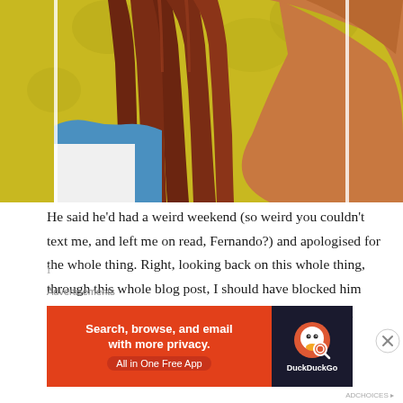[Figure (photo): Partial view of a person with long auburn/brown straight hair against a yellow patterned background, showing bare shoulder; blue garment visible on left side]
He said he'd had a weird weekend (so weird you couldn't text me, and left me on read, Fernando?) and apologised for the whole thing. Right, looking back on this whole thing, through this whole blog post, I should have blocked him after the first ghosting. Nando was playing some weird game, and I was apparently willing to go along with it.
i ... ... ... ... ... ... ... ... ... ...
Advertisements
[Figure (screenshot): DuckDuckGo advertisement banner: orange background on left with text 'Search, browse, and email with more privacy. All in One Free App', dark right side with DuckDuckGo logo and text]